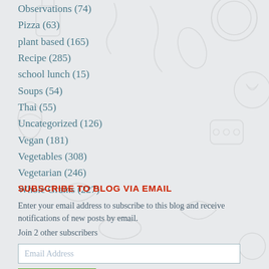Observations (74)
Pizza (63)
plant based (165)
Recipe (285)
school lunch (15)
Soups (54)
Thai (55)
Uncategorized (126)
Vegan (181)
Vegetables (308)
Vegetarian (246)
Whole Grains (227)
SUBSCRIBE TO BLOG VIA EMAIL
Enter your email address to subscribe to this blog and receive notifications of new posts by email.
Join 2 other subscribers